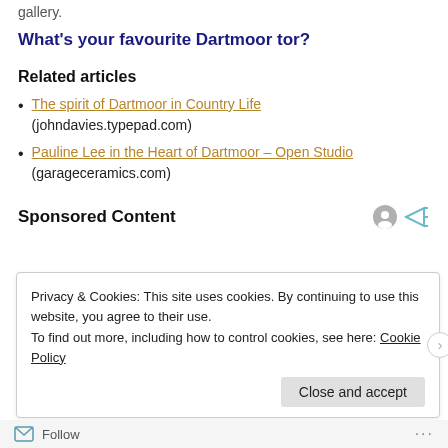gallery.
What's your favourite Dartmoor tor?
Related articles
The spirit of Dartmoor in Country Life (johndavies.typepad.com)
Pauline Lee in the Heart of Dartmoor – Open Studio (garageceramics.com)
Sponsored Content
Privacy & Cookies: This site uses cookies. By continuing to use this website, you agree to their use.
To find out more, including how to control cookies, see here: Cookie Policy
Close and accept
Follow